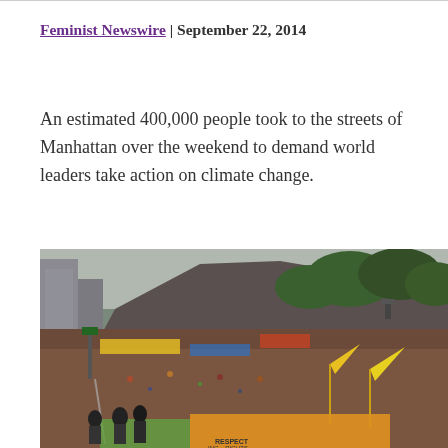Feminist Newswire | September 22, 2014
An estimated 400,000 people took to the streets of Manhattan over the weekend to demand world leaders take action on climate change.
[Figure (photo): Aerial view of a massive crowd march through Manhattan streets, with yellow flags/banners visible, surrounded by buildings and trees. People fill the entire street as far as the eye can see.]